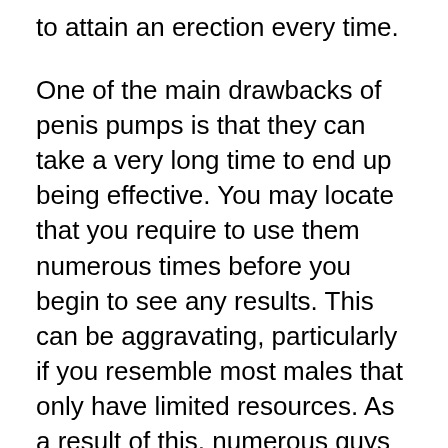to attain an erection every time.
One of the main drawbacks of penis pumps is that they can take a very long time to end up being effective. You may locate that you require to use them numerous times before you begin to see any results. This can be aggravating, particularly if you resemble most males that only have limited resources. As a result of this, numerous guys look towards the penis pump air pump as an alternative.
Although water-based penis pumps are a good choice, you additionally require to take into consideration just how very easy they are to clean. Due to the fact that they